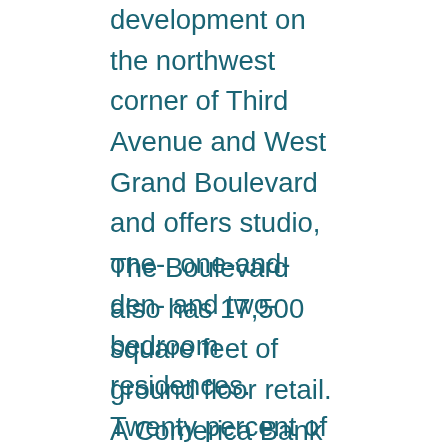development on the northwest corner of Third Avenue and West Grand Boulevard and offers studio, one-, one-and-den- and two-bedroom residences. Twenty percent of the apartments are offered as affordable housing at 80% average median income.
The Boulevard also has 17,500 square feet of ground floor retail. A Comerica Bank branch has already opened, with an Orangetheory Fitness and Beyond Juice opening in the next month.
Several players, including The Platform, City of Detroit and DEGC are working together to create a sustainable ecosystem to support growth throughout